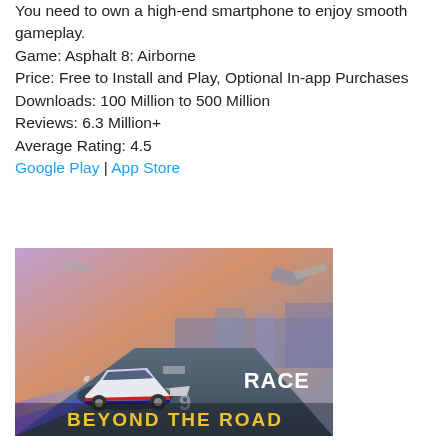You need to own a high-end smartphone to enjoy smooth gameplay.
Game: Asphalt 8: Airborne
Price: Free to Install and Play, Optional In-app Purchases
Downloads: 100 Million to 500 Million
Reviews: 6.3 Million+
Average Rating: 4.5
Google Play | App Store
[Figure (photo): Asphalt 8: Airborne game screenshot showing a white sports car racing on an aircraft carrier runway with jets flying overhead and a purple/orange sky. Text overlay reads 'RACE BEYOND THE ROAD' in white and gold.]